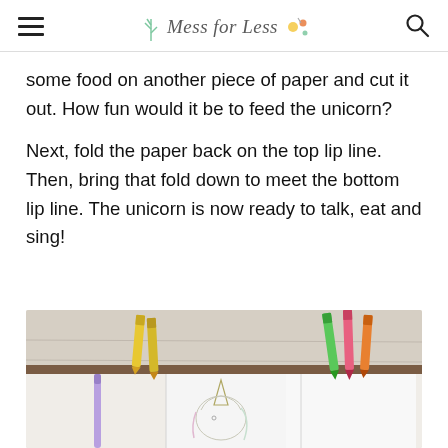Mess for Less
some food on another piece of paper and cut it out. How fun would it be to feed the unicorn?
Next, fold the paper back on the top lip line. Then, bring that fold down to meet the bottom lip line. The unicorn is now ready to talk, eat and sing!
[Figure (photo): Photo of crayons and a unicorn coloring page on a white wooden surface. Yellow and purple crayons on the left, green, pink and orange crayons on the right, with a partially visible unicorn drawing in the center.]